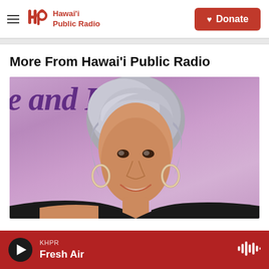Hawai'i Public Radio — Donate
More From Hawai'i Public Radio
[Figure (photo): Woman with short silver-gray hair and hoop earrings smiling, wearing a black off-shoulder top, photographed against a purple background with partial text reading 'e and Fran']
KHPR Fresh Air